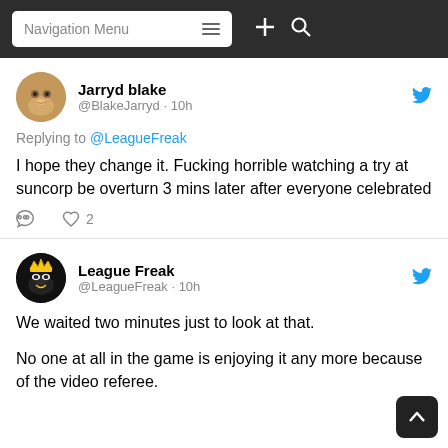Navigation Menu
Jarryd blake @BlakeJarryd · 10h
Replying to @LeagueFreak
I hope they change it. Fucking horrible watching a try at suncorp be overturn 3 mins later after everyone celebrated
League Freak @LeagueFreak · 10h
We waited two minutes just to look at that.

No one at all in the game is enjoying it any more because of the video referee.